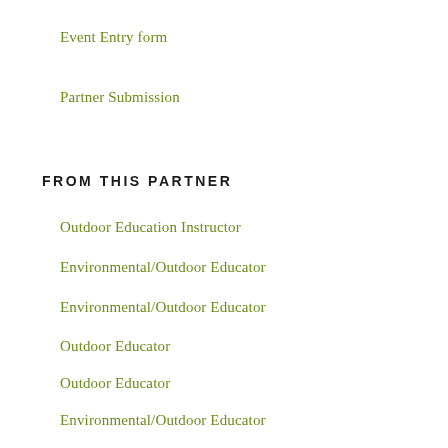Event Entry form
Partner Submission
FROM THIS PARTNER
Outdoor Education Instructor
Environmental/Outdoor Educator
Environmental/Outdoor Educator
Outdoor Educator
Outdoor Educator
Environmental/Outdoor Educator
Summer Camp Team Leader
Environmental/Outdoor Educator
Summer Camp Team Leader